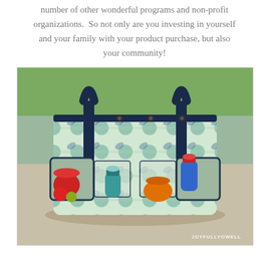number of other wonderful programs and non-profit organizations.  So not only are you investing in yourself and your family with your product purchase, but also your community!
[Figure (photo): A colorful patterned tote bag with multiple pockets on the outside, filled with containers and bottles, sitting on a concrete surface outdoors with grass in the background. Watermark reads JOYFULLYOWELL in the bottom right corner.]